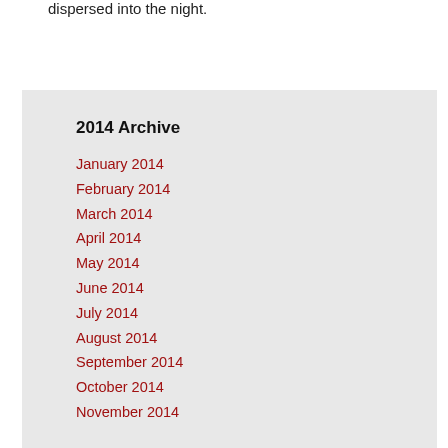dispersed into the night.
2014 Archive
January 2014
February 2014
March 2014
April 2014
May 2014
June 2014
July 2014
August 2014
September 2014
October 2014
November 2014
December 2014